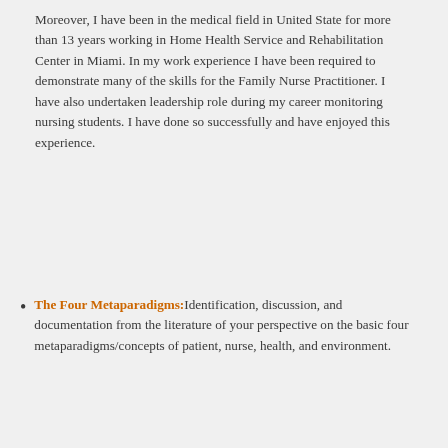Moreover, I have been in the medical field in United State for more than 13 years working in Home Health Service and Rehabilitation Center in Miami. In my work experience I have been required to demonstrate many of the skills for the Family Nurse Practitioner. I have also undertaken leadership role during my career monitoring nursing students. I have done so successfully and have enjoyed this experience.
The Four Metaparadigms: Identification, discussion, and documentation from the literature of your perspective on the basic four metaparadigms/concepts of patient, nurse, health, and environment.